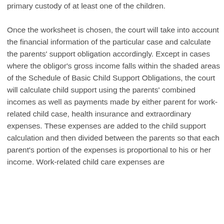primary custody of at least one of the children.
Once the worksheet is chosen, the court will take into account the financial information of the particular case and calculate the parents' support obligation accordingly. Except in cases where the obligor's gross income falls within the shaded areas of the Schedule of Basic Child Support Obligations, the court will calculate child support using the parents' combined incomes as well as payments made by either parent for work-related child case, health insurance and extraordinary expenses. These expenses are added to the child support calculation and then divided between the parents so that each parent's portion of the expenses is proportional to his or her income. Work-related child care expenses are